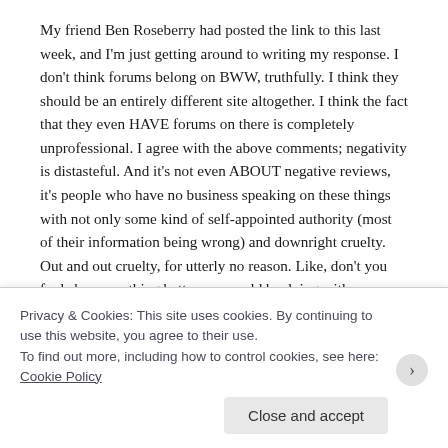My friend Ben Roseberry had posted the link to this last week, and I'm just getting around to writing my response. I don't think forums belong on BWW, truthfully. I think they should be an entirely different site altogether. I think the fact that they even HAVE forums on there is completely unprofessional. I agree with the above comments; negativity is distasteful. And it's not even ABOUT negative reviews, it's people who have no business speaking on these things with not only some kind of self-appointed authority (most of their information being wrong) and downright cruelty. Out and out cruelty, for utterly no reason. Like, don't you fools have anything better you could be doing with your time? Aren't there dolphins to save? I don't know, it's just so counter productive to me!
It's not even censorship–it just has no place in the realm of
Privacy & Cookies: This site uses cookies. By continuing to use this website, you agree to their use.
To find out more, including how to control cookies, see here: Cookie Policy